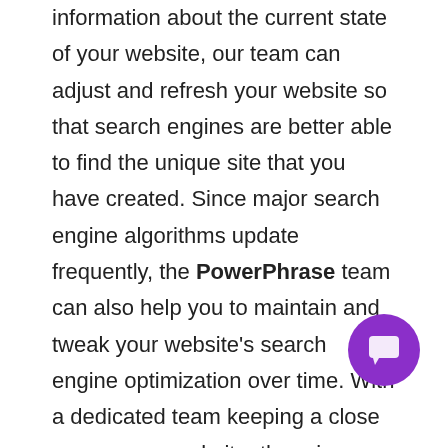information about the current state of your website, our team can adjust and refresh your website so that search engines are better able to find the unique site that you have created. Since major search engine algorithms update frequently, the PowerPhrase team can also help you to maintain and tweak your website's search engine optimization over time. With a dedicated team keeping a close eye on your website, there is no need to fear that your site will end up lost in anonymity on the web.
[Figure (illustration): Purple circular chat button icon in the bottom right corner]